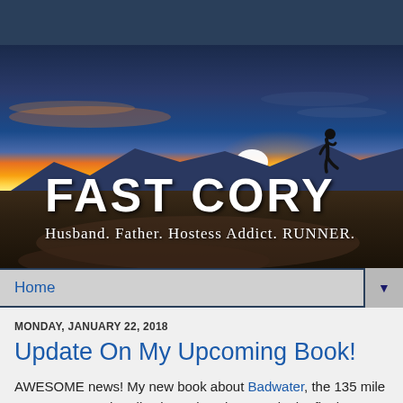[Figure (photo): Blog header banner showing a runner silhouetted against a vivid sunset/sunrise sky over mountains. Text overlay reads 'FAST CORY' in large hand-lettered white font, with subtitle 'Husband. Father. Hostess Addict. RUNNER.']
Home
MONDAY, JANUARY 22, 2018
Update On My Upcoming Book!
AWESOME news! My new book about Badwater, the 135 mile run across Death Valley is getting close! It's in the final stages of editing. And I brought on the amazing Luke…